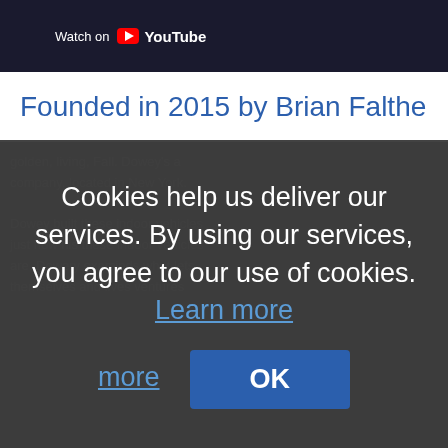[Figure (screenshot): YouTube video thumbnail showing 'Watch on YouTube' text with YouTube logo]
Founded in 2015 by Brian Falthe
Cookies help us deliver our services. By using our services, you agree to our use of cookies. Learn more
OK